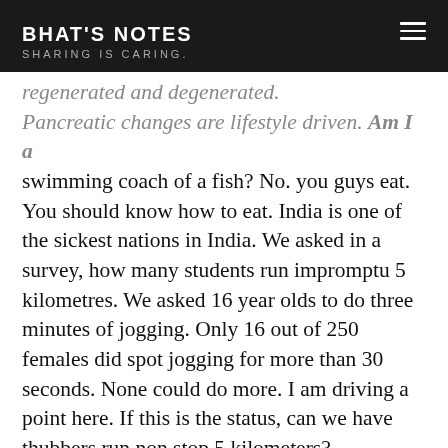BHAT'S NOTES
SHARING IS CARING.
regenerated and degenerated. Pancreatic changes are lifestyle driven. Am I a swimming coach of a fish? No. you guys eat. You should know how to eat. India is one of the sickest nations in India. We asked in a survey, how many students run impromptu 5 kilometres. We asked 16 year olds to do three minutes of jogging. Only 16 out of 250 females did spot jogging for more than 30 seconds. None could do more. I am driving a point here. If this is the status, can we have thubbers run non stop 5 kilometers?
Vitamin D: Why are we worried about it? There is lot of research on vitamin D. It is a sign of your liveliness. When you are living by being with nature, body senses that you are living. Vitamin D senses this and body undergoes metabolises. Each cell goes through